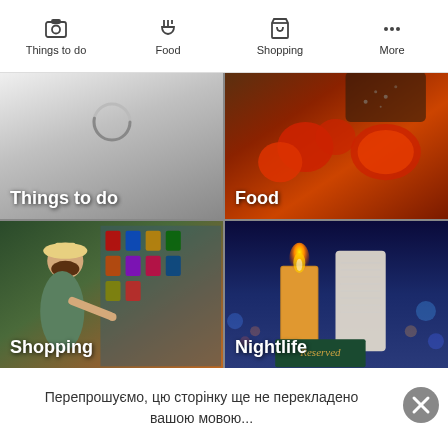[Figure (screenshot): Mobile app navigation bar with four tabs: Things to do (camera icon), Food (cutlery icon), Shopping (shopping bag icon), More (three dots icon)]
[Figure (screenshot): 2x2 grid of category tiles: Things to do (grey gradient with loading spinner), Food (cooking/tomatoes photo), Shopping (woman at market stall photo), Nightlife (candles at restaurant photo with Reserved sign)]
Перепрошуємо, цю сторінку ще не перекладено вашою мовою...